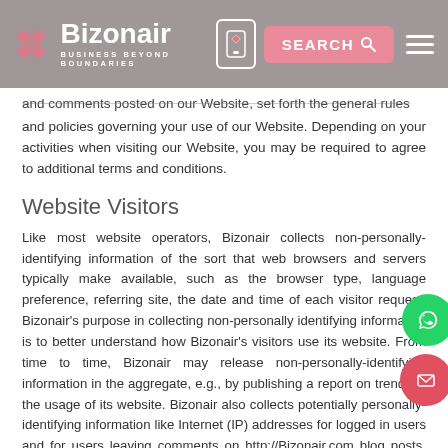Bizonair — BUSINESS BEYOND BOUNDARIES
and comments posted on our Website, set forth the general rules and policies governing your use of our Website. Depending on your activities when visiting our Website, you may be required to agree to additional terms and conditions.
Website Visitors
Like most website operators, Bizonair collects non-personally-identifying information of the sort that web browsers and servers typically make available, such as the browser type, language preference, referring site, the date and time of each visitor request. Bizonair's purpose in collecting non-personally identifying information is to better understand how Bizonair's visitors use its website. From time to time, Bizonair may release non-personally-identifying information in the aggregate, e.g., by publishing a report on trends in the usage of its website. Bizonair also collects potentially personally-identifying information like Internet (IP) addresses for logged in users and for users leaving comments on http://Bizonair.com blog posts. Bizonair only discloses logged-in user and commenter IP addresses under the same circumstances